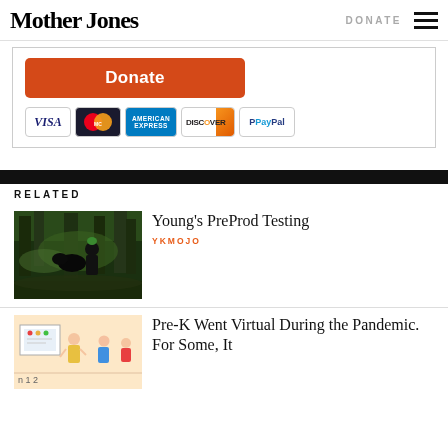Mother Jones | DONATE
[Figure (screenshot): Donate button (orange) and payment method icons: Visa, MasterCard, American Express, Discover, PayPal]
RELATED
[Figure (photo): Person in forest with animal, green hair, dark clothing]
Young's PreProd Testing
YKMOJO
[Figure (illustration): Cartoon illustration of virtual classroom scene]
Pre-K Went Virtual During the Pandemic. For Some, It